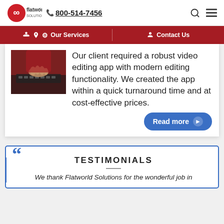flatworld solutions | 800-514-7456
Our Services | Contact Us
[Figure (photo): Person typing on keyboard, red/dark background]
Our client required a robust video editing app with modern editing functionality. We created the app within a quick turnaround time and at cost-effective prices.
Read more
TESTIMONIALS
We thank Flatworld Solutions for the wonderful job in